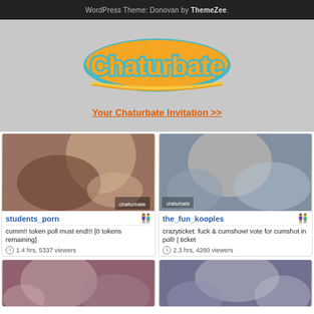WordPress Theme: Donovan by ThemeZee.
[Figure (logo): Chaturbate logo in orange and blue bubble letters with yellow underline swoosh]
Your Chaturbate Invitation >>
[Figure (photo): Thumbnail 1: students_porn - cumm!! token poll must end!!! [0 tokens remaining] - 1.4 hrs, 5337 viewers]
[Figure (photo): Thumbnail 2: the_fun_kooples - crazyticket: fuck & cumshow! vote for cumshot in poll! | ticket - 2.3 hrs, 4280 viewers]
[Figure (photo): Thumbnail 3: partial view, bottom of page]
[Figure (photo): Thumbnail 4: partial view, bottom of page]